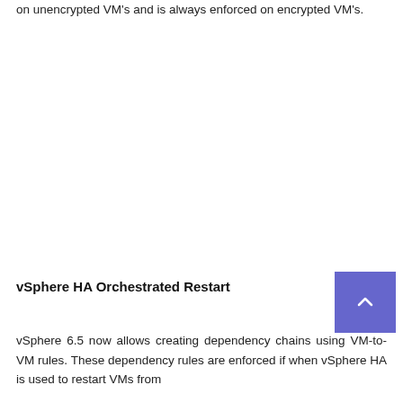on unencrypted VM's and is always enforced on encrypted VM's.
vSphere HA Orchestrated Restart
vSphere 6.5 now allows creating dependency chains using VM-to-VM rules. These dependency rules are enforced if when vSphere HA is used to restart VMs from